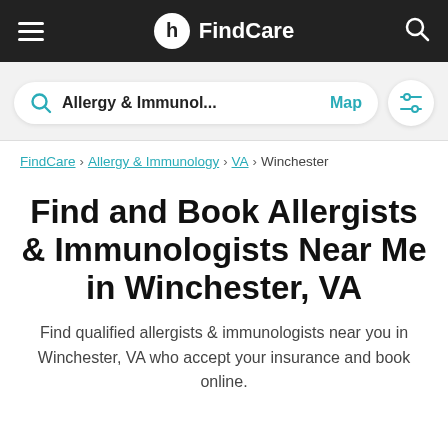FindCare
Allergy & Immunol... Map
FindCare › Allergy & Immunology › VA › Winchester
Find and Book Allergists & Immunologists Near Me in Winchester, VA
Find qualified allergists & immunologists near you in Winchester, VA who accept your insurance and book online.